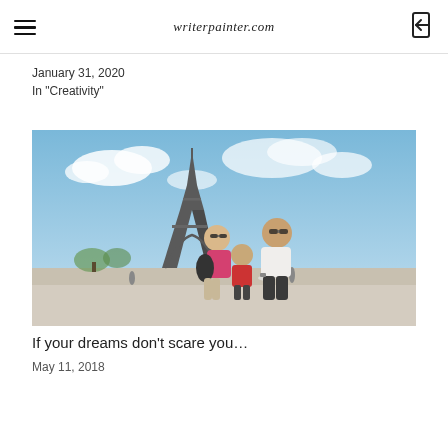writerpainter.com
January 31, 2020
In "Creativity"
[Figure (photo): Family of three (woman in pink top with black shoulder bag, man in white t-shirt, young boy in red shirt) posing in front of the Eiffel Tower in Paris on a sunny day]
If your dreams don’t scare you…
May 11, 2018